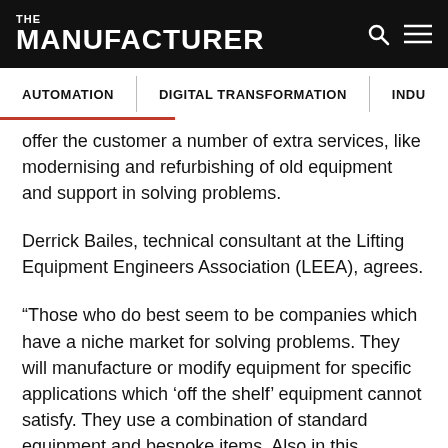THE MANUFACTURER
AUTOMATION | DIGITAL TRANSFORMATION | INDU
offer the customer a number of extra services, like modernising and refurbishing of old equipment and support in solving problems.
Derrick Bailes, technical consultant at the Lifting Equipment Engineers Association (LEEA), agrees.
“Those who do best seem to be companies which have a niche market for solving problems. They will manufacture or modify equipment for specific applications which ‘off the shelf’ equipment cannot satisfy. They use a combination of standard equipment and bespoke items. Also in this category are companies which refurbish or